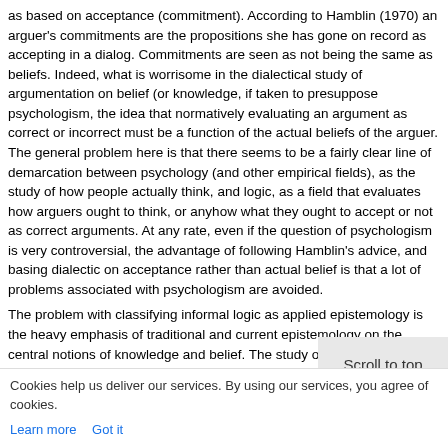as based on acceptance (commitment). According to Hamblin (1970) an arguer's commitments are the propositions she has gone on record as accepting in a dialog. Commitments are seen as not being the same as beliefs. Indeed, what is worrisome in the dialectical study of argumentation on belief (or knowledge, if taken to presuppose psychologism, the idea that normatively evaluating an argument as correct or incorrect must be a function of the actual beliefs of the arguer. The general problem here is that there seems to be a fairly clear line of demarcation between psychology (and other empirical fields), as the study of how people actually think, and logic, as a field that evaluates how arguers ought to think, or anyhow what they ought to accept or not as correct arguments. At any rate, even if the question of psychologism is very controversial, the advantage of following Hamblin's advice, and basing dialectic on acceptance rather than actual belief is that a lot of problems associated with psychologism are avoided.
The problem with classifying informal logic as applied epistemology is the heavy emphasis of traditional and current epistemology on the central notions of knowledge and belief. The study of fallacies has shown that commitment-based argumentation is much more appropriate for informal logic (even though the study of argumentation based on knowledge and belief also has a place. So the fit between the two subjects is not good, as things stand. However, in recent years there has been a shift in epistemology towards social epistemology and towards study of defeasible reasoning. If epistemology were to be taken more in this direction, there would be more of a fit with informal logic.
But the idea that informal logic is close to epistemology and conditionals are a field that has any place ... would ought to wid...
Cookies help us deliver our services. By using our services, you agree of cookies. Learn more   Got it